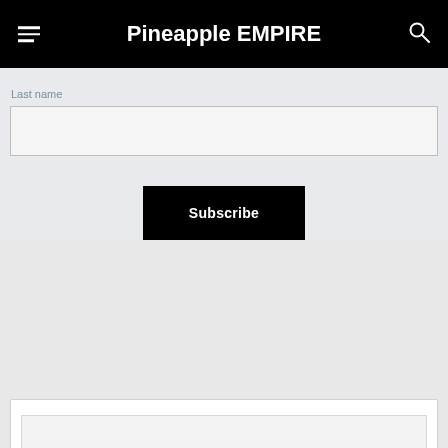Pineapple EMPIRE
Last name
[Figure (screenshot): Empty text input field for last name]
[Figure (screenshot): Subscribe button, black background with white text]
[Figure (screenshot): Bottom card area partially visible at bottom of page]